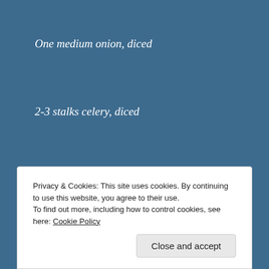One medium onion, diced
2-3 stalks celery, diced
1 tablespoon poultry seasoning
1 tablespoon sage
1 tablespoon thyme
Privacy & Cookies: This site uses cookies. By continuing to use this website, you agree to their use.
To find out more, including how to control cookies, see here: Cookie Policy
Close and accept